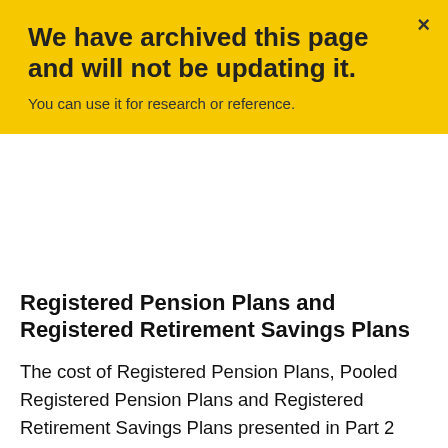We have archived this page and will not be updating it. You can use it for research or reference.
Registered Pension Plans and Registered Retirement Savings Plans
The cost of Registered Pension Plans, Pooled Registered Pension Plans and Registered Retirement Savings Plans presented in Part 2 and Part 3 is estimated on a cash-flow basis. The net cost of these plans in a given year is the revenue forgone associated with the deductibility of contributions to the plans